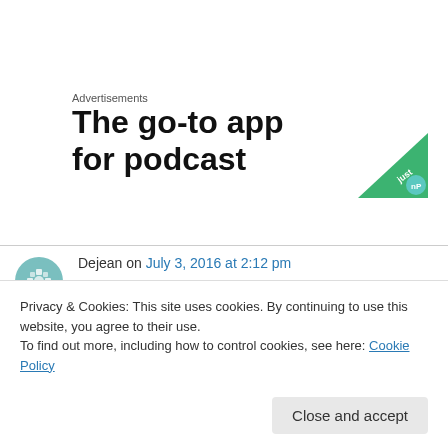Advertisements
[Figure (other): Advertisement banner for a podcast app with bold text 'The go-to app for podcast' and a green triangular logo icon on the right]
Dejean on July 3, 2016 at 2:12 pm
Ik doe wel geen look in mijn vlaamse carbonnades maar om de saus te dikken gebruik
Privacy & Cookies: This site uses cookies. By continuing to use this website, you agree to their use.
To find out more, including how to control cookies, see here: Cookie Policy
Close and accept